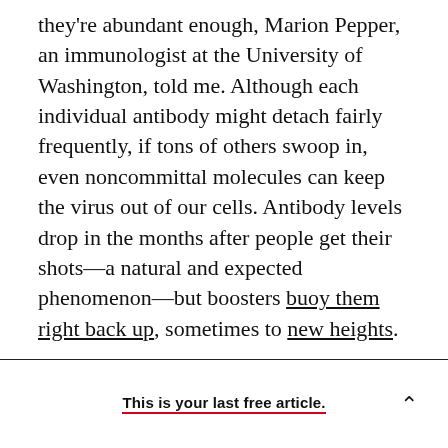they're abundant enough, Marion Pepper, an immunologist at the University of Washington, told me. Although each individual antibody might detach fairly frequently, if tons of others swoop in, even noncommittal molecules can keep the virus out of our cells. Antibody levels drop in the months after people get their shots—a natural and expected phenomenon—but boosters buoy them right back up, sometimes to new heights.

Quantity, of course, can't infinitely compensate for quality. Immunologists and vaccinologists are now trying to get a handle on how bad the current
This is your last free article.